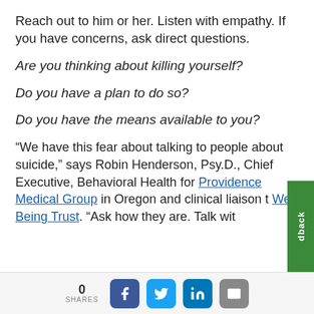Reach out to him or her. Listen with empathy. If you have concerns, ask direct questions.
Are you thinking about killing yourself?
Do you have a plan to do so?
Do you have the means available to you?
“We have this fear about talking to people about suicide,” says Robin Henderson, Psy.D., Chief Executive, Behavioral Health for Providence Medical Group in Oregon and clinical liaison t Well Being Trust. “Ask how they are. Talk with
0 SHARES [Facebook] [Twitter] [LinkedIn] [Email]